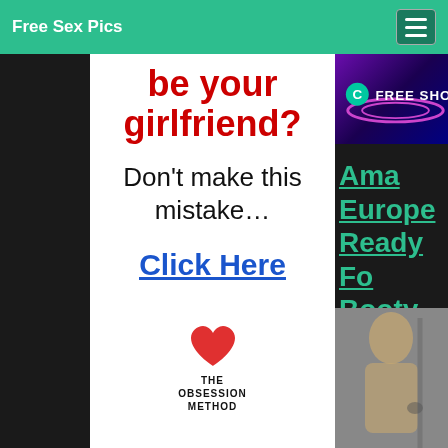Free Sex Pics
[Figure (advertisement): Ad banner with red bold text 'be your girlfriend?', black text 'Don't make this mistake…', blue underlined 'Click Here', and The Obsession Method logo at bottom]
[Figure (advertisement): FREE SHOW banner with Chaturbate-style logo on purple/dark background]
Ama Europe Ready Fo Booty P
[Figure (photo): Blonde person photo in grey/bathroom setting]